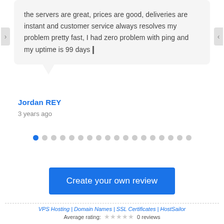the servers are great, prices are good, deliveries are instant and customer service always resolves my problem pretty fast, I had zero problem with ping and my uptime is 99 days
Jordan REY
3 years ago
[Figure (other): Pagination dots, 18 total, first dot is blue/active, rest are gray]
Create your own review
VPS Hosting | Domain Names | SSL Certificates | HostSailor
Average rating: 0 reviews